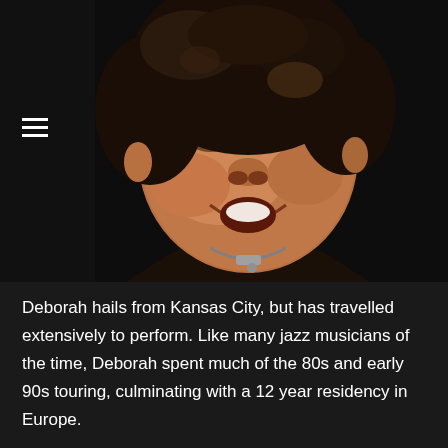[Figure (photo): Portrait photograph of Deborah, a smiling Black woman with short curly dark hair, wearing a black top and a silver necklace, photographed against a dark background.]
Deborah hails from Kansas City, but has travelled extensively to perform. Like many jazz musicians of the time, Deborah spent much of the 80s and early 90s touring, culminating with a 12 year residency in Europe.